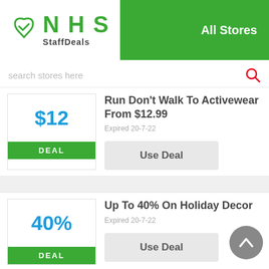[Figure (logo): NHS StaffDeals logo with green heart icon and NHS text, with 'All Stores' navigation link on green header background]
search stores here
$12
DEAL
Run Don't Walk To Activewear From $12.99
Expired 20-7-22
Use Deal
40%
DEAL
Up To 40% On Holiday Decor
Expired 20-7-22
Use Deal